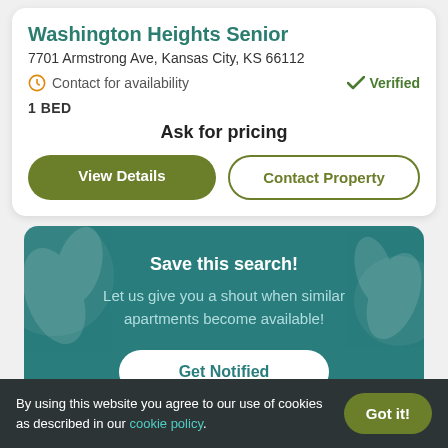Washington Heights Senior
7701 Armstrong Ave, Kansas City, KS 66112
Contact for availability   ✓ Verified
1 BED
Ask for pricing
View Details
Contact Property
Save this search!
Let us give you a shout when similar apartments become available!
Get Notified
By using this website you agree to our use of cookies as described in our cookie policy.   Got it!